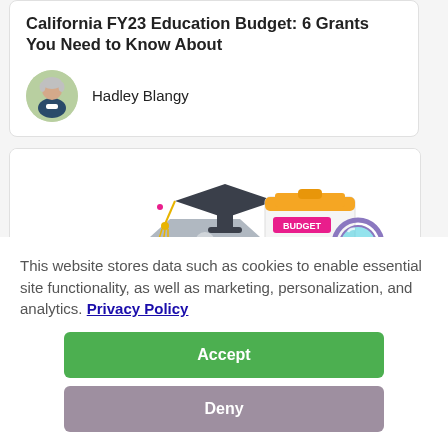California FY23 Education Budget: 6 Grants You Need to Know About
Hadley Blangy
[Figure (illustration): Illustration of a graduation cap on a building, a clipboard with 'BUDGET' label and document lines, and a magnifying glass]
This website stores data such as cookies to enable essential site functionality, as well as marketing, personalization, and analytics. Privacy Policy
Accept
Deny